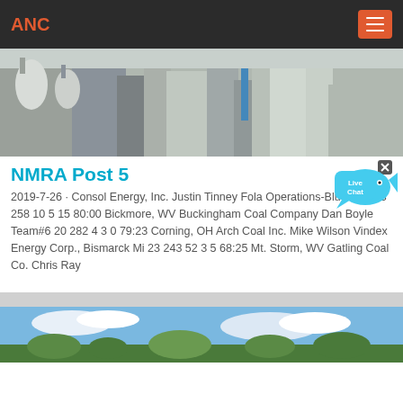ANC
[Figure (photo): Industrial facility / coal processing equipment, grayscale-tinted photo]
NMRA Post 5
[Figure (illustration): Live Chat bubble icon with an 'x' close button]
2019-7-26 · Consol Energy, Inc. Justin Tinney Fola Operations-Blue Team 3 258 10 5 15 80:00 Bickmore, WV Buckingham Coal Company Dan Boyle Team#6 20 282 4 3 0 79:23 Corning, OH Arch Coal Inc. Mike Wilson Vindex Energy Corp., Bismarck Mi 23 243 52 3 5 68:25 Mt. Storm, WV Gatling Coal Co. Chris Ray
[Figure (photo): Landscape/nature scene with sky and greenery, bottom of page]